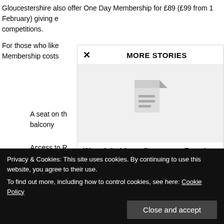Gloucestershire also offer One Day Membership for £89 (£99 from 1 February) giving e... competitions.
For those who like... Membership costs...
A seat on th... balcony
Access to R...
Cheltenham...
Members d...
[Figure (screenshot): More Stories overlay panel with close button, a story image placeholder showing a document icon, and headline 'Warwickshire v Somerset, Royal London One Day Cup, Edgbaston']
Privacy & Cookies: This site uses cookies. By continuing to use this website, you agree to their use. To find out more, including how to control cookies, see here: Cookie Policy
Young Adults (age 16-21) get the full Membership package for £49...